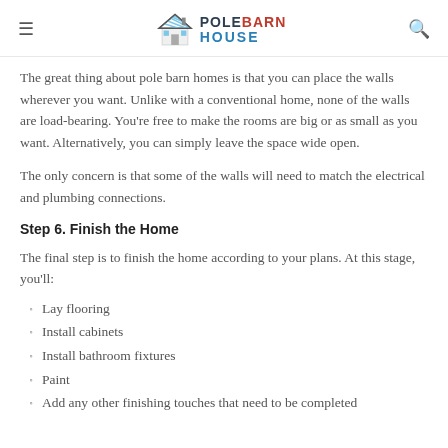POLE BARN HOUSE
The great thing about pole barn homes is that you can place the walls wherever you want. Unlike with a conventional home, none of the walls are load-bearing. You're free to make the rooms are big or as small as you want. Alternatively, you can simply leave the space wide open.
The only concern is that some of the walls will need to match the electrical and plumbing connections.
Step 6. Finish the Home
The final step is to finish the home according to your plans. At this stage, you'll:
Lay flooring
Install cabinets
Install bathroom fixtures
Paint
Add any other finishing touches that need to be completed